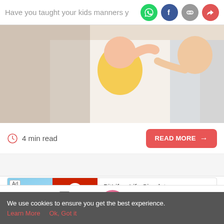Have you taught your kids manners y
[Figure (photo): Photo of a child in yellow shirt being disciplined by an adult woman pointing finger]
4 min read
READ MORE →
[Figure (screenshot): Ad banner for BitLife - Life Simulator with Install button]
Tools | Articles | (home icon) | Feed | Poll
We use cookies to ensure you get the best experience.
Learn More   Ok, Got it